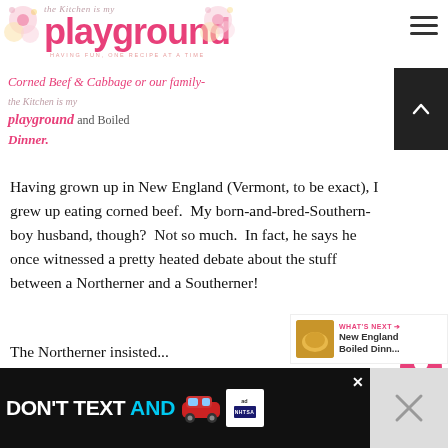the Kitchen is my playground — HAVING FUN, ONE RECIPE AT A TIME
Corned Beef & Cabbage or our family- the Kitchen is my playground and Boiled Dinner.
Having grown up in New England (Vermont, to be exact), I grew up eating corned beef.  My born-and-bred-Southern-boy husband, though?  Not so much.  In fact, he says he once witnessed a pretty heated debate about the stuff between a Northerner and a Southerner!
[Figure (other): What's Next thumbnail showing New England Boiled Dinn...]
[Figure (other): Advertisement banner: DON'T TEXT AND [car emoji] with NHTSA ad badge]